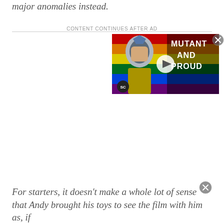major anomalies instead.
CONTENT CONTINUES AFTER AD
[Figure (screenshot): Video thumbnail advertisement showing a person in a superhero costume (Magneto) against a rainbow pride flag background with text 'MUTANT AND PROUD' and an SC logo, with a play button overlay]
For starters, it doesn't make a whole lot of sense that Andy brought his toys to see the film with him as, if